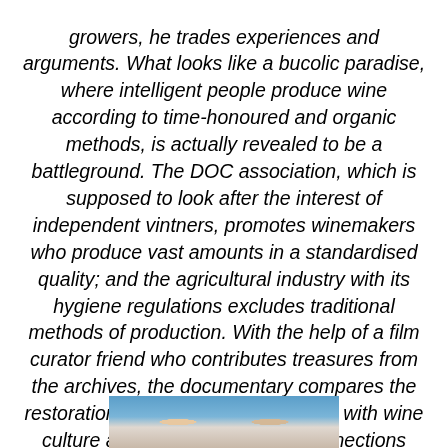growers, he trades experiences and arguments. What looks like a bucolic paradise, where intelligent people produce wine according to time-honoured and organic methods, is actually revealed to be a battleground. The DOC association, which is supposed to look after the interest of independent vintners, promotes winemakers who produce vast amounts in a standardised quality; and the agricultural industry with its hygiene regulations excludes traditional methods of production. With the help of a film curator friend who contributes treasures from the archives, the documentary compares the restoration of this cinematic heritage with wine culture and reveals surprising connections between intellectual nourishment and bodily sustenance.
–Précis of Natural Resistance by Jonathan Nossiter
[Figure (photo): Partial photo strip at the bottom showing faces of people, partially cropped]